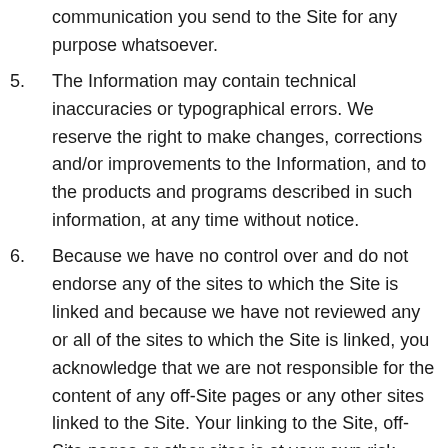communication you send to the Site for any purpose whatsoever.
5. The Information may contain technical inaccuracies or typographical errors. We reserve the right to make changes, corrections and/or improvements to the Information, and to the products and programs described in such information, at any time without notice.
6. Because we have no control over and do not endorse any of the sites to which the Site is linked and because we have not reviewed any or all of the sites to which the Site is linked, you acknowledge that we are not responsible for the content of any off-Site pages or any other sites linked to the Site. Your linking to the Site, off-Site pages or other sites is at your own risk